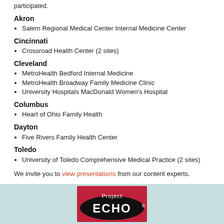participated.
Akron
Salem Regional Medical Center Internal Medicine Center
Cincinnati
Crossroad Health Center (2 sites)
Cleveland
MetroHealth Bedford Internal Medicine
MetroHealth Broadway Family Medicine Clinic
University Hospitals MacDonald Women's Hospital
Columbus
Heart of Ohio Family Health
Dayton
Five Rivers Family Health Center
Toledo
University of Toledo Comprehensive Medical Practice (2 sites)
We invite you to view presentations from our content experts.
[Figure (logo): Project ECHO logo — red square background with black oval containing white 'ECHO' text and 'Project' above, with registered trademark symbol]